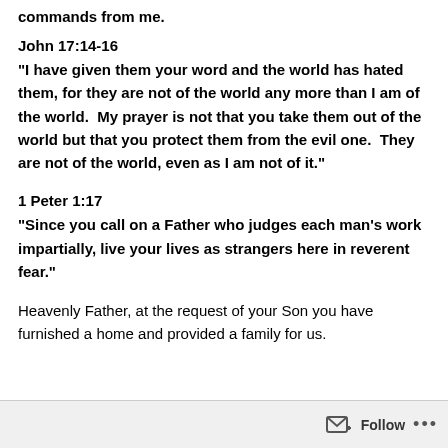commands from me.
John 17:14-16
“I have given them your word and the world has hated them, for they are not of the world any more than I am of the world.  My prayer is not that you take them out of the world but that you protect them from the evil one.  They are not of the world, even as I am not of it.”
1 Peter 1:17
“Since you call on a Father who judges each man’s work impartially, live your lives as strangers here in reverent fear.”
Heavenly Father, at the request of your Son you have furnished a home and provided a family for us.
Follow ···